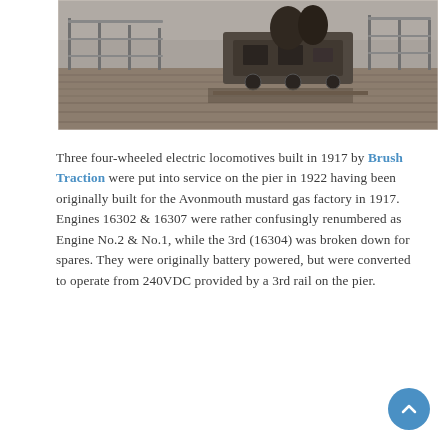[Figure (photo): Black and white historical photograph showing a four-wheeled electric locomotive on a pier, with railings and wooden planks visible.]
Three four-wheeled electric locomotives built in 1917 by Brush Traction were put into service on the pier in 1922 having been originally built for the Avonmouth mustard gas factory in 1917. Engines 16302 & 16307 were rather confusingly renumbered as Engine No.2 & No.1, while the 3rd (16304) was broken down for spares. They were originally battery powered, but were converted to operate from 240VDC provided by a 3rd rail on the pier.